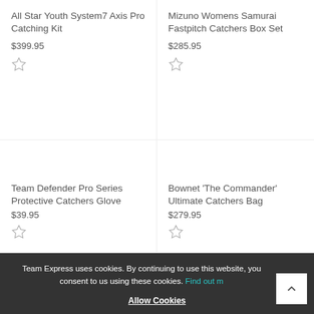All Star Youth System7 Axis Pro Catching Kit
$399.95
Mizuno Womens Samurai Fastpitch Catchers Box Set
$285.95
Team Defender Pro Series Protective Catchers Glove
$39.95
Bownet 'The Commander' Ultimate Catchers Bag
$279.95
Team Express uses cookies. By continuing to use this website, you consent to us using these cookies. Find out more
Allow Cookies